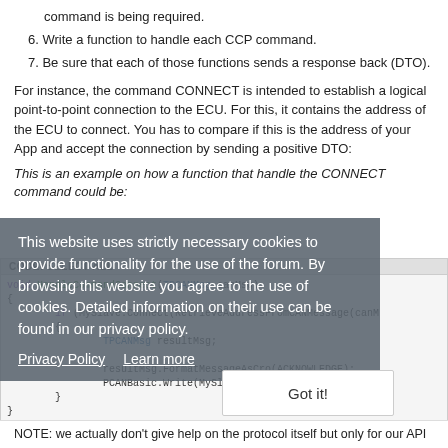command is being required.
6. Write a function to handle each CCP command.
7. Be sure that each of those functions sends a response back (DTO).
For instance, the command CONNECT is intended to establish a logical point-to-point connection to the ECU. For this, it contains the address of the ECU to connect. You has to compare if this is the address of your App and accept the connection by sending a positive DTO:
This is an example on how a function that handle the CONNECT command could be:
[Figure (screenshot): Code block showing void HandleCommandConnect(TPCANMsg canMsg) function with cookie consent overlay on top]
NOTE: we actually don't give help on the protocol itself but only for our API